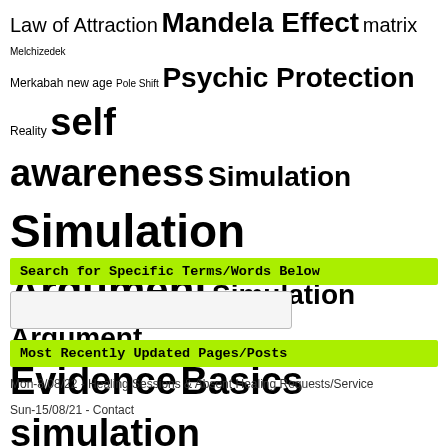Law of Attraction Mandela Effect matrix Melchizedek Merkabah new age Pole Shift Psychic Protection Reality self awareness Simulation Simulation Argument Simulation Argument Evidence Basics simulation evidence Soul Spirit Form Spirit Guides Spiritual Spiritual Hierarchy Spiritual Sexuality Spiritual Slaves Spiritual Truths subtle body subtle environment Surreal thinking Virtual Reality
Search for Specific Terms/Words Below
Most Recently Updated Pages/Posts
Mon-8/08/22 - Healing Sessions & Absent Healing Requests/Service
Sun-15/08/21 - Contact